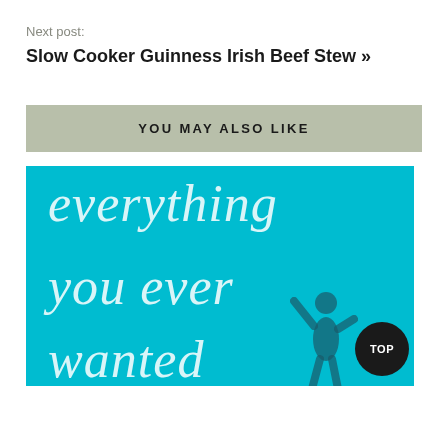Next post:
Slow Cooker Guinness Irish Beef Stew »
YOU MAY ALSO LIKE
[Figure (illustration): Book cover image with teal/cyan background featuring the text 'everything you ever wanted' in large italic serif font with a silhouette figure of a person with raised arm, and a circular TOP button in the bottom right corner.]